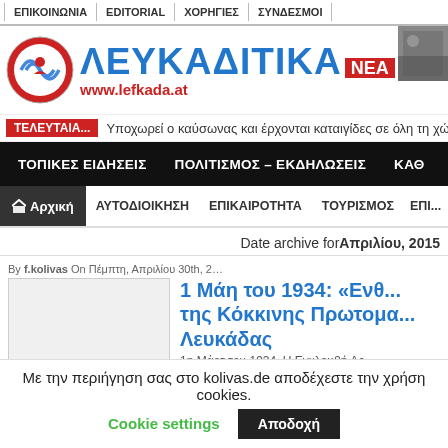ΕΠΙΚΟΙΝΩΝΙΑ | EDITORIAL | ΧΟΡΗΓΙΕΣ | ΣΥΝΔΕΣΜΟΙ
[Figure (logo): Λευκαδιτικά Νέα logo with circular emblem, blue bold text ΛΕΥΚΑΔΙΤΙΚΑ, red NEA badge, and www.lefkada.at URL]
ΤΕΛΕΥΤΑΙΑ... Υποχωρεί ο καύσωνας και έρχονται καταιγίδες σε όλη τη χώρα
ΤΟΠΙΚΕΣ ΕΙΔΗΣΕΙΣ   ΠΟΛΙΤΙΣΜΟΣ – ΕΚΔΗΛΩΣΕΙΣ   ΚΑΘ...
Αρχική   ΑΥΤΟΔΙΟΙΚΗΣΗ   ΕΠΙΚΑΙΡΟΤΗΤΑ   ΤΟΥΡΙΣΜΟΣ   ΕΠΙ...
Date archive forΑπριλίου, 2015
By f.kolivas On Πέμπτη, Απριλίου 30th, 2015
1 Μάη του 1934: «Ενθ... της Κόκκινης Πρωτομα... Λευκάδας
1η Μάρτ του 1934. Η Εγκλουβή Ας...
Με την περιήγηση σας στο kolivas.de αποδέχεστε την χρήση cookies.  Cookie settings  Αποδοχή